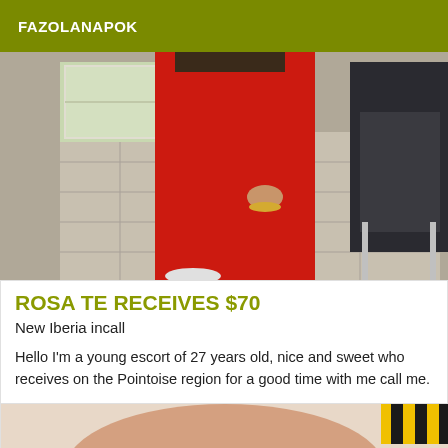FAZOLANAPOK
[Figure (photo): Person wearing red outfit standing indoors near a chair on a tiled floor]
ROSA TE RECEIVES $70
New Iberia incall
Hello I'm a young escort of 27 years old, nice and sweet who receives on the Pointoise region for a good time with me call me.
[Figure (photo): Partial photo visible at bottom of page]